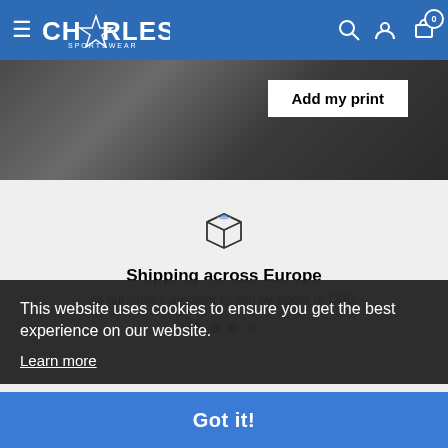CHARLES SPORTSWEAR — navigation header with search, account, and cart icons
[Figure (photo): Product photo of dark sportswear item with Add my print button overlay]
[Figure (illustration): Shipping box icon outline illustration]
Shipping across Europe
All our orders are sent to you by Bpost or DPD.
This website uses cookies to ensure you get the best experience on our website.
Learn more
ABOUT THE SHOP
Got it!
FOOTER MENU